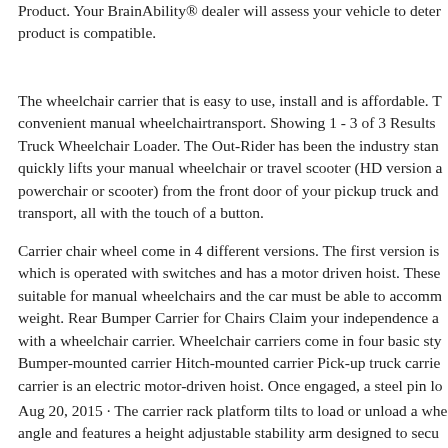Product. Your BrainAbility® dealer will assess your vehicle to determine if this product is compatible.
The wheelchair carrier that is easy to use, install and is affordable. Th convenient manual wheelchairtransport. Showing 1 - 3 of 3 Results Truck Wheelchair Loader. The Out-Rider has been the industry stand quickly lifts your manual wheelchair or travel scooter (HD version a powerchair or scooter) from the front door of your pickup truck and transport, all with the touch of a button.
Carrier chair wheel come in 4 different versions. The first version is which is operated with switches and has a motor driven hoist. These suitable for manual wheelchairs and the car must be able to accomm weight. Rear Bumper Carrier for Chairs Claim your independence a with a wheelchair carrier. Wheelchair carriers come in four basic sty Bumper-mounted carrier Hitch-mounted carrier Pick-up truck carrie carrier is an electric motor-driven hoist. Once engaged, a steel pin lo
Aug 20, 2015 · The carrier rack platform tilts to load or unload a whe angle and features a height adjustable stability arm designed to secu